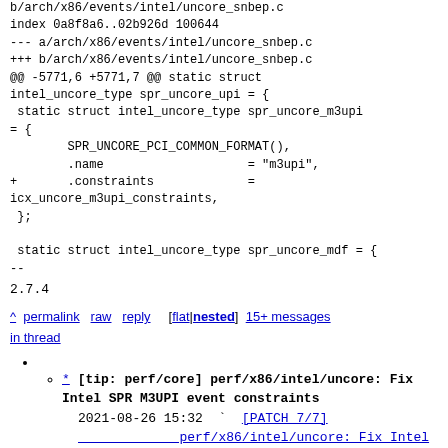b/arch/x86/events/intel/uncore_snbep.c
index 0a8f8a6..02b926d 100644
--- a/arch/x86/events/intel/uncore_snbep.c
+++ b/arch/x86/events/intel/uncore_snbep.c
@@ -5771,6 +5771,7 @@ static struct intel_uncore_type spr_uncore_upi = {
 static struct intel_uncore_type spr_uncore_m3upi
= {
        SPR_UNCORE_PCI_COMMON_FORMAT(),
        .name                    = "m3upi",
+       .constraints             =
icx_uncore_m3upi_constraints,
 };

 static struct intel_uncore_type spr_uncore_mdf =
{
--
2.7.4
^ permalink raw reply [flat|nested] 15+ messages in thread
* [tip: perf/core] perf/x86/intel/uncore: Fix Intel SPR M3UPI event constraints
2021-08-26 15:32 ` [PATCH 7/7] perf/x86/intel/uncore: Fix Intel SPR M3UPI " kan.liang
@ 2021-08-31 12:07   ` tip-bot2 for Kan Liang